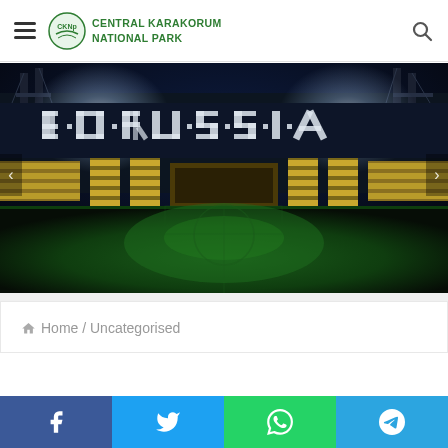Central Karakorum National Park
[Figure (photo): Borussia Dortmund stadium at night with floodlights illuminating the pitch, yellow and black stands visible, 'BORUSSIA' text in seats]
Home / Uncategorised
[Figure (other): Social media sharing bar with Facebook, Twitter, WhatsApp, and Telegram buttons]